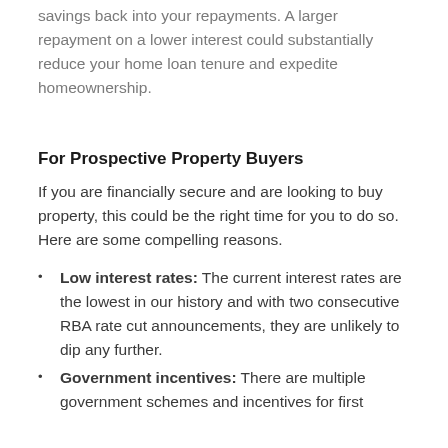savings back into your repayments. A larger repayment on a lower interest could substantially reduce your home loan tenure and expedite homeownership.
For Prospective Property Buyers
If you are financially secure and are looking to buy property, this could be the right time for you to do so. Here are some compelling reasons.
Low interest rates: The current interest rates are the lowest in our history and with two consecutive RBA rate cut announcements, they are unlikely to dip any further.
Government incentives: There are multiple government schemes and incentives for first